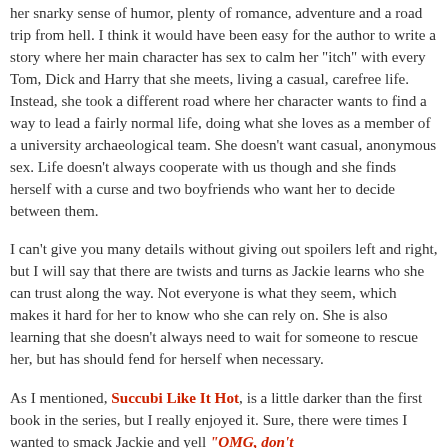her snarky sense of humor, plenty of romance, adventure and a road trip from hell. I think it would have been easy for the author to write a story where her main character has sex to calm her "itch" with every Tom, Dick and Harry that she meets, living a casual, carefree life. Instead, she took a different road where her character wants to find a way to lead a fairly normal life, doing what she loves as a member of a university archaeological team. She doesn't want casual, anonymous sex. Life doesn't always cooperate with us though and she finds herself with a curse and two boyfriends who want her to decide between them.
I can't give you many details without giving out spoilers left and right, but I will say that there are twists and turns as Jackie learns who she can trust along the way. Not everyone is what they seem, which makes it hard for her to know who she can rely on. She is also learning that she doesn't always need to wait for someone to rescue her, but has should fend for herself when necessary.
As I mentioned, Succubi Like It Hot, is a little darker than the first book in the series, but I really enjoyed it. Sure, there were times I wanted to smack Jackie and yell "OMG, don't